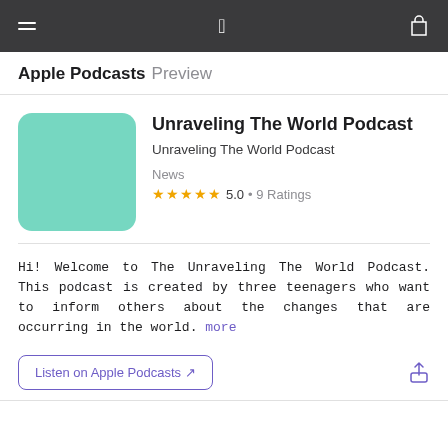Apple Podcasts Preview
Unraveling The World Podcast
Unraveling The World Podcast
News
★★★★★ 5.0 • 9 Ratings
Hi! Welcome to The Unraveling The World Podcast. This podcast is created by three teenagers who want to inform others about the changes that are occurring in the world. more
Listen on Apple Podcasts ↗